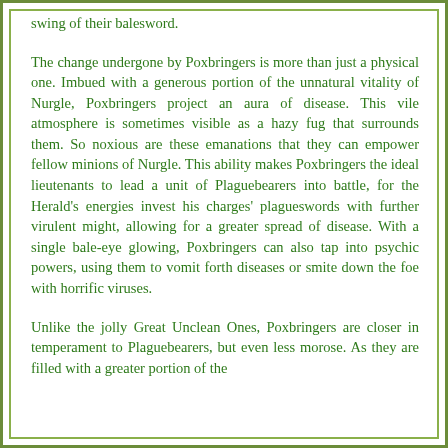swing of their balesword.
The change undergone by Poxbringers is more than just a physical one. Imbued with a generous portion of the unnatural vitality of Nurgle, Poxbringers project an aura of disease. This vile atmosphere is sometimes visible as a hazy fug that surrounds them. So noxious are these emanations that they can empower fellow minions of Nurgle. This ability makes Poxbringers the ideal lieutenants to lead a unit of Plaguebearers into battle, for the Herald's energies invest his charges' plagueswords with further virulent might, allowing for a greater spread of disease. With a single bale-eye glowing, Poxbringers can also tap into psychic powers, using them to vomit forth diseases or smite down the foe with horrific viruses.
Unlike the jolly Great Unclean Ones, Poxbringers are closer in temperament to Plaguebearers, but even less morose. As they are filled with a greater portion of the